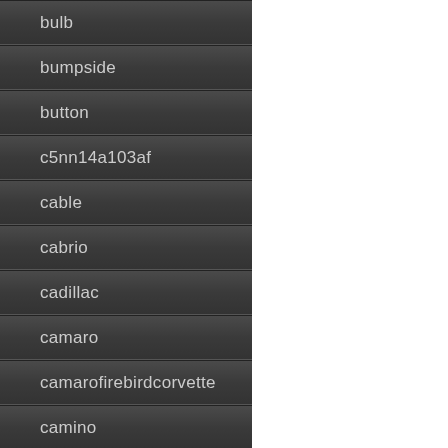building
bulb
bumpside
button
c5nn14a103af
cable
cabrio
cadillac
camaro
camarofirebirdcorvette
camino
can-am